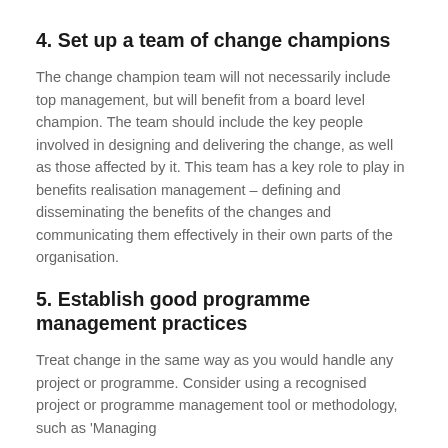4. Set up a team of change champions
The change champion team will not necessarily include top management, but will benefit from a board level champion. The team should include the key people involved in designing and delivering the change, as well as those affected by it. This team has a key role to play in benefits realisation management – defining and disseminating the benefits of the changes and communicating them effectively in their own parts of the organisation.
5. Establish good programme management practices
Treat change in the same way as you would handle any project or programme. Consider using a recognised project or programme management tool or methodology, such as 'Managing